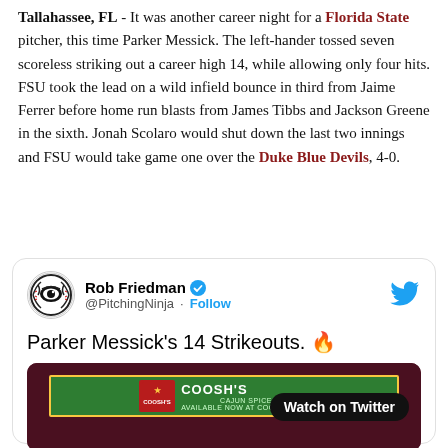Tallahassee, FL - It was another career night for a Florida State pitcher, this time Parker Messick. The left-hander tossed seven scoreless striking out a career high 14, while allowing only four hits. FSU took the lead on a wild infield bounce in third from Jaime Ferrer before home run blasts from James Tibbs and Jackson Greene in the sixth. Jonah Scolaro would shut down the last two innings and FSU would take game one over the Duke Blue Devils, 4-0.
[Figure (screenshot): Embedded tweet from @PitchingNinja (Rob Friedman) with verified badge and Twitter bird logo. Tweet text: 'Parker Messick's 14 Strikeouts. 🔥'. Below the tweet text is a video thumbnail showing a green/yellow banner with COOSH'S CAJUN SPICE branding over a dark background, and a 'Watch on Twitter' button overlay.]